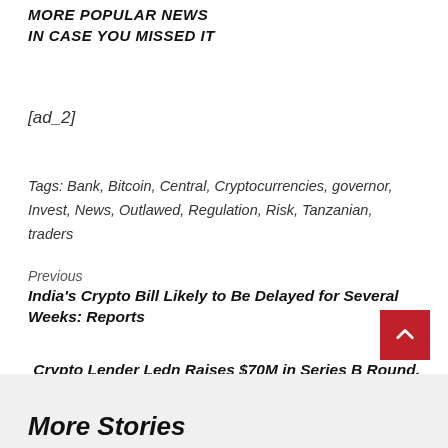MORE POPULAR NEWS
IN CASE YOU MISSED IT
[ad_2]
Tags: Bank, Bitcoin, Central, Cryptocurrencies, governor, Invest, News, Outlawed, Regulation, Risk, Tanzanian, traders
Previous
India's Crypto Bill Likely to Be Delayed for Several Weeks: Reports
Next
Crypto Lender Ledn Raises $70M in Series B Round, Readies Bitcoin-Backed Mortgage Product
More Stories